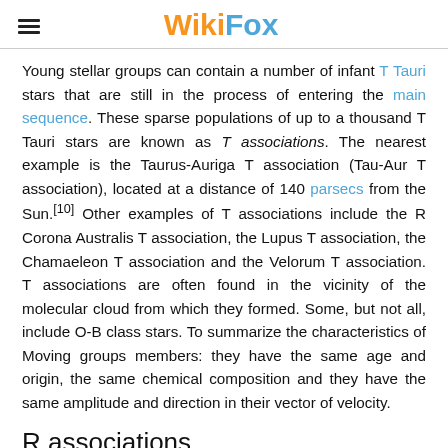WikiFox
Young stellar groups can contain a number of infant T Tauri stars that are still in the process of entering the main sequence. These sparse populations of up to a thousand T Tauri stars are known as T associations. The nearest example is the Taurus-Auriga T association (Tau-Aur T association), located at a distance of 140 parsecs from the Sun.[10] Other examples of T associations include the R Corona Australis T association, the Lupus T association, the Chamaeleon T association and the Velorum T association. T associations are often found in the vicinity of the molecular cloud from which they formed. Some, but not all, include O-B class stars. To summarize the characteristics of Moving groups members: they have the same age and origin, the same chemical composition and they have the same amplitude and direction in their vector of velocity.
R associations
Associations of stars that illuminate reflection nebulae are